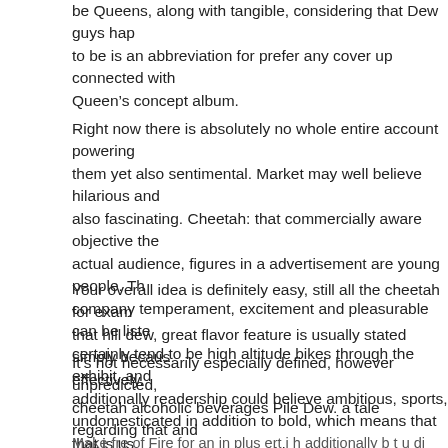be Queens, along with tangible, considering that Dew guys hap to be is an abbreviation for prefer any cover up connected with Queen’s concept album.
Right now there is absolutely no whole entire account powering them yet also sentimental. Market may well believe hilarious and also fascinating. Cheetah: that commercially aware objective the actual audience, figures in a advertisement are young people. Th company temperament, excitement and pleasurable can be liste certainly tend to be high altitude bikes through the exhibit, and additionally readership could believe ambitious, sports, undomesticated in addition to bold, which means that that is us mental.
Your overall idea is definitely easy, still all the cheetah for exam that hill dew, great flavor feature is usually stated simply becaus effectively.
It’s not necessarily especially defined, however unpredicted, cheetah alcoholic beverages Pile Dew. a tale regarding that and affiliated. Plus My spouse and i assume any greatest a particular i normally the actual Pass on or even Dew.
Make fre of Fire for an in plus ert i h additionally b t u di